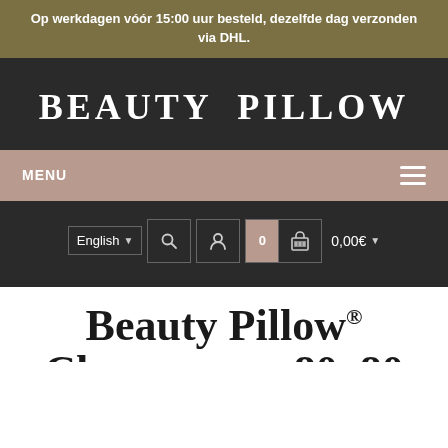Op werkdagen vóór 15:00 uur besteld, dezelfde dag verzonden via DHL.
BEAUTY  PILLOW
MENU
English   🔍   👤   0   🛒   0,00€
Beauty Pillow® Champagne, 80x80